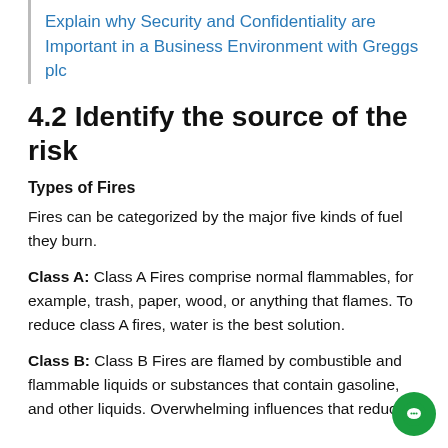Explain why Security and Confidentiality are Important in a Business Environment with Greggs plc
4.2 Identify the source of the risk
Types of Fires
Fires can be categorized by the major five kinds of fuel they burn.
Class A: Class A Fires comprise normal flammables, for example, trash, paper, wood, or anything that flames. To reduce class A fires, water is the best solution.
Class B: Class B Fires are flamed by combustible and flammable liquids or substances that contain gasoline, and other liquids. Overwhelming influences that reduce